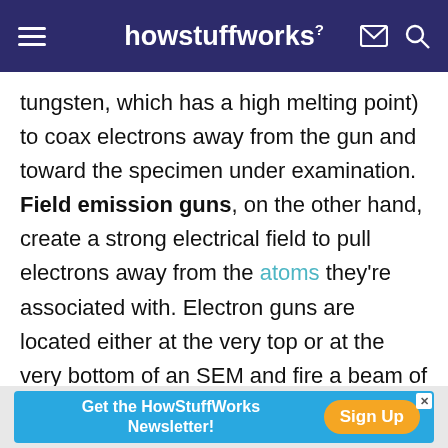howstuffworks
tungsten, which has a high melting point) to coax electrons away from the gun and toward the specimen under examination. Field emission guns, on the other hand, create a strong electrical field to pull electrons away from the atoms they're associated with. Electron guns are located either at the very top or at the very bottom of an SEM and fire a beam of electrons at the object under examination. These electrons don't naturally go where they need to, however, which gets us to the next component of SEMs.
[Figure (screenshot): Advertisement banner: 'Get the HowStuffWorks Newsletter!' with a 'Sign Up' button on blue background]